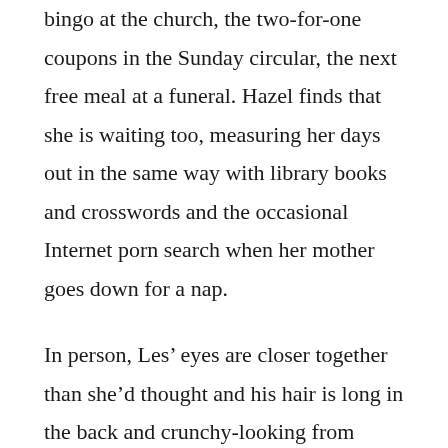bingo at the church, the two-for-one coupons in the Sunday circular, the next free meal at a funeral. Hazel finds that she is waiting too, measuring her days out in the same way with library books and crosswords and the occasional Internet porn search when her mother goes down for a nap.
In person, Les’ eyes are closer together than she’d thought and his hair is long in the back and crunchy-looking from some kind of gel. She should feel flattered—because he’s trying. He and his khaki shorts are making an effort. He shakes her hand, leaving it wet with sweat. “Sorry,” he says. “I’m a